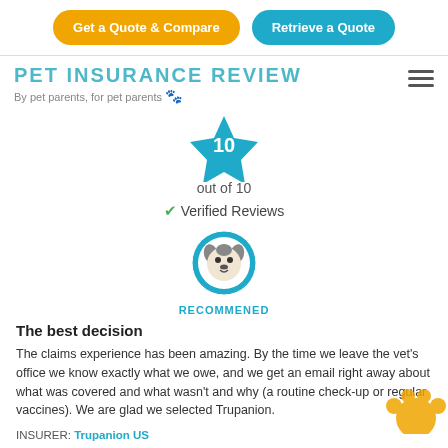Get a Quote & Compare | Retrieve a Quote
PET INSURANCE REVIEW
By pet parents, for pet parents 🐾
[Figure (infographic): Blue star badge with number 10 inside, score indicator]
out of 10
✓ Verified Reviews
[Figure (illustration): Blue circular badge with cartoon husky dog face, labeled RECOMMENED]
The best decision
The claims experience has been amazing. By the time we leave the vet's office we know exactly what we owe, and we get an email right away about what was covered and what wasn't and why (a routine check-up or regular vaccines). We are glad we selected Trupanion.
INSURER: Trupanion US
POSTED: 10/12/2021